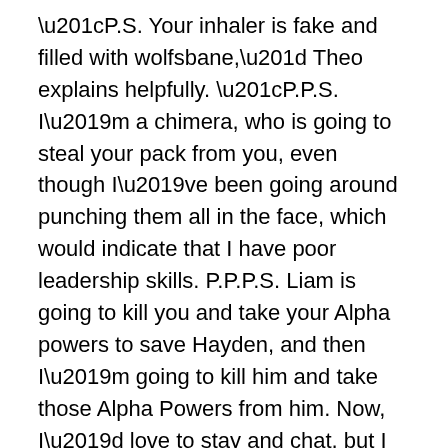“P.S. Your inhaler is fake and filled with wolfsbane,” Theo explains helpfully. “P.P.S. I’m a chimera, who is going to steal your pack from you, even though I’ve been going around punching them all in the face, which would indicate that I have poor leadership skills. P.P.P.S. Liam is going to kill you and take your Alpha powers to save Hayden, and then I’m going to kill him and take those Alpha Powers from him. Now, I’d love to stay and chat, but I gotta go punch Stiles in the face, and hope that it will turn him on enough that he will have sex with me. P.P.P.P.S. I’m secretly in love with Stiles. See ya!”
[Figure (other): Broken image placeholder with alt text 'void stiles']
Theo finds Stiles outside, and the two roll around on the ground for a little bit. It’s sexy in a Fight Club sort of way. At least Stiles is fighting back, so it doesn’t give off that